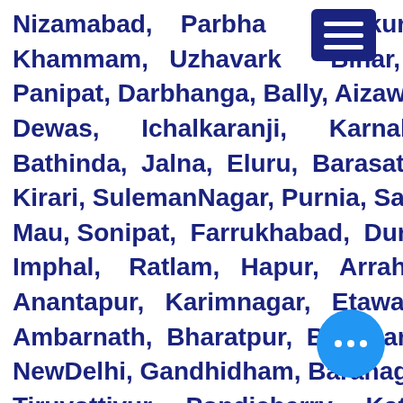Nizamabad, Parbhani, Tumkur, Khammam, Uzhavarkai, Bihar, Panipat, Darbhanga, Bally, Aizawl, Dewas, Ichalkaranji, Karnal, Bathinda, Jalna, Eluru, Barasat, Kirari, SulemanNagar, Purnia, Satna, Mau, Sonipat, Farrukhabad, Durg, Imphal, Ratlam, Hapur, Arrah, Anantapur, Karimnagar, Etawah, Ambarnath, Bharatpur, Begusarai, NewDelhi, Gandhidham, Baranagar, Tiruvottiyur, Pondicherry, Katni, Secunderabad, Naihati, Yamunanagar, Bidhannagar, Pallavaram, Bidar, Munger, Panchkula, Burhanpur, RaurkelalIndustrialTownship, Kharagpur, Dindigul, Gandhinagar, Hospet, NangloiJat, Malda, Old Deoghar, Chapra, Haldia, Khanawa,